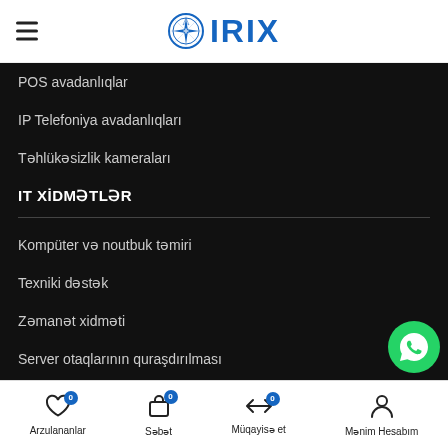IRIX
POS avadanlıqlar
IP Telefoniya avadanlıqları
Təhlükəsizlik kameraları
IT XİDMƏTLƏR
Kompüter və noutbuk təmiri
Texniki dəstək
Zəmanət xidməti
Server otaqlarının quraşdırılması
Server quraşdırılması
Arzulananlar | Səbət | Müqayisə et | Mənim Hesabım